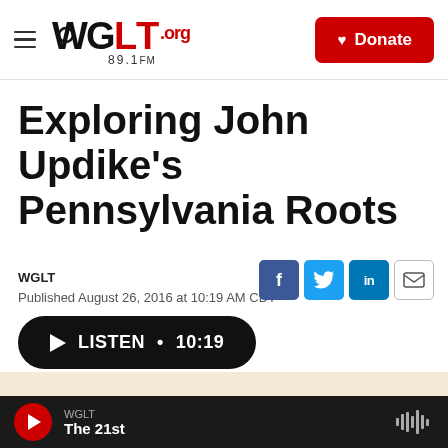WGLT.org 89.1FM — Donate
Exploring John Updike's Pennsylvania Roots
WGLT
Published August 26, 2016 at 10:19 AM CDT
LISTEN • 10:19
[Figure (photo): Tan/beige colored image strip partially visible at bottom of content area]
WGLT — The 21st